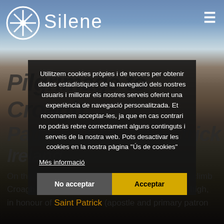Silene
Pilgrimage to Croagh Patrick / Croagh Patrick Ireland
Utilitzem cookies pròpies i de tercers per obtenir dades estadístiques de la navegació dels nostres usuaris i millorar els nostres serveis oferint una experiència de navegació personalitzada. Et recomanem acceptar-les, ja que en cas contrari no podràs rebre correctament alguns continguts i serveis de la nostra web. Pots desactivar les cookies en la nostra pàgina "Ús de cookies"
Més informació
No acceptar
Acceptar
On the last Sunday in July, thousands of pilgrims climb Croagh Patrick (Ireland), a holy mountain 764 m high, in honour of Saint Patrick (apostle and primary patron